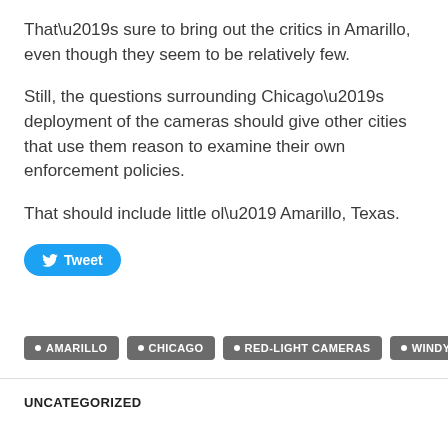That’s sure to bring out the critics in Amarillo, even though they seem to be relatively few.
Still, the questions surrounding Chicago’s deployment of the cameras should give other cities that use them reason to examine their own enforcement policies.
That should include little ol’ Amarillo, Texas.
[Figure (other): Tweet button with Twitter bird icon]
AMARILLO
CHICAGO
RED-LIGHT CAMERAS
WINDY CITY
UNCATEGORIZED